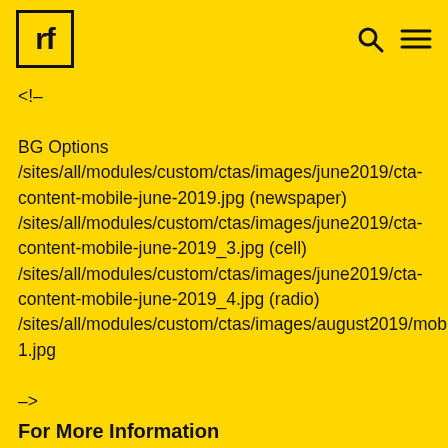rf [logo] [search icon] [menu icon]
<!--
BG Options
/sites/all/modules/custom/ctas/images/june2019/cta-content-mobile-june-2019.jpg (newspaper)
/sites/all/modules/custom/ctas/images/june2019/cta-content-mobile-june-2019_3.jpg (cell)
/sites/all/modules/custom/ctas/images/june2019/cta-content-mobile-june-2019_4.jpg (radio)
/sites/all/modules/custom/ctas/images/august2019/mobile-1.jpg

-->
For More Information